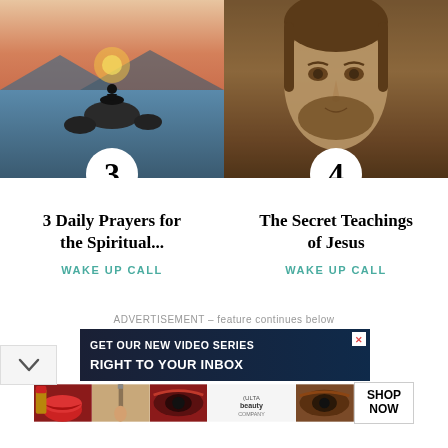[Figure (photo): Person meditating on rocks by a lake at sunset with colorful sky]
[Figure (photo): Artistic image of the face of Jesus Christ resembling the Shroud of Turin]
3 Daily Prayers for the Spiritual...
The Secret Teachings of Jesus
WAKE UP CALL
WAKE UP CALL
ADVERTISEMENT – feature continues below
[Figure (screenshot): Advertisement banner: GET OUR NEW VIDEO SERIES RIGHT TO YOUR INBOX]
[Figure (screenshot): Ulta Beauty advertisement with makeup images and SHOP NOW button]